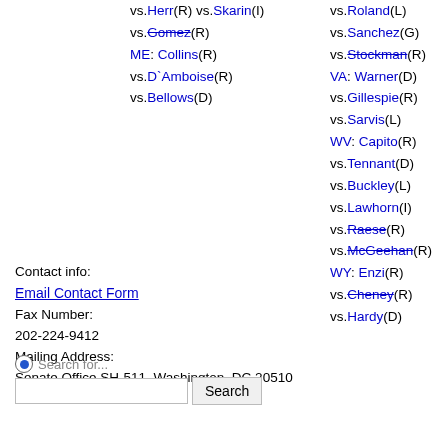vs.Herr(R) vs.Skarin(I)
vs.Gomez(R)
ME: Collins(R)
vs.D`Amboise(R)
vs.Bellows(D)
vs.Roland(L)
vs.Sanchez(G)
vs.Stockman(R)
VA: Warner(D)
vs.Gillespie(R)
vs.Sarvis(L)
WV: Capito(R)
vs.Tennant(D)
vs.Buckley(L)
vs.Lawhorn(I)
vs.Raese(R)
vs.McGeehan(R)
WY: Enzi(R)
vs.Cheney(R)
vs.Hardy(D)
Contact info:
Email Contact Form
Fax Number:
202-224-9412
Mailing Address:
Senate Office SH-511, Washington, DC 20510
Search for...
Search